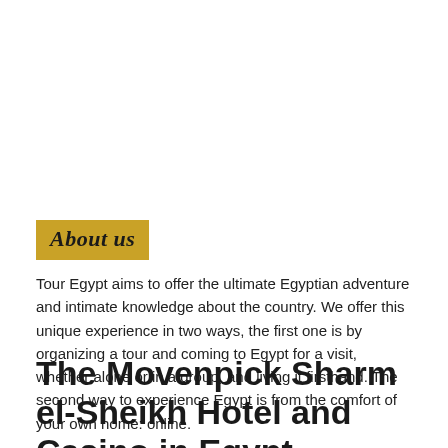About us
Tour Egypt aims to offer the ultimate Egyptian adventure and intimate knowledge about the country. We offer this unique experience in two ways, the first one is by organizing a tour and coming to Egypt for a visit, whether alone or in a group, and living it firsthand. The second way to experience Egypt is from the comfort of your own home: online.
The Movenpick Sharm el-Sheikh Hotel and Casino in Egypt